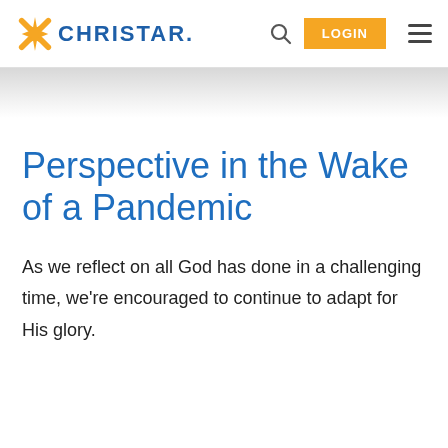CHRISTAR. LOGIN
Perspective in the Wake of a Pandemic
As we reflect on all God has done in a challenging time, we're encouraged to continue to adapt for His glory.